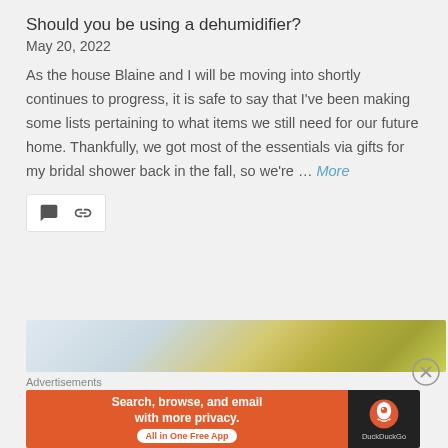Should you be using a dehumidifier?
May 20, 2022
As the house Blaine and I will be moving into shortly continues to progress, it is safe to say that I've been making some lists pertaining to what items we still need for our future home. Thankfully, we got most of the essentials via gifts for my bridal shower back in the fall, so we're … More
[Figure (infographic): Icon bar with comment bubble icon and chain link/share icon on white background]
[Figure (photo): Partial photo showing yellow flowers against a light grey/blue sky background]
Advertisements
[Figure (infographic): DuckDuckGo advertisement banner: orange left panel with text 'Search, browse, and email with more privacy. All in One Free App' and dark right panel with DuckDuckGo logo and name]